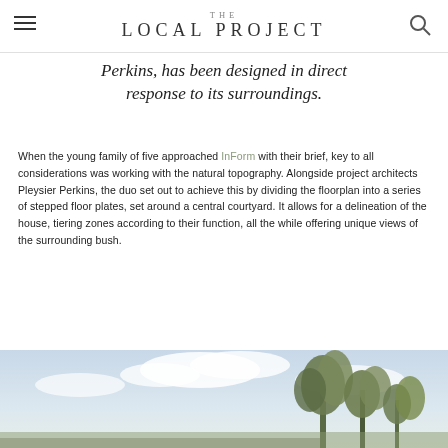THE LOCAL PROJECT
Perkins, has been designed in direct response to its surroundings.
When the young family of five approached InForm with their brief, key to all considerations was working with the natural topography. Alongside project architects Pleysier Perkins, the duo set out to achieve this by dividing the floorplan into a series of stepped floor plates, set around a central courtyard. It allows for a delineation of the house, tiering zones according to their function, all the while offering unique views of the surrounding bush.
[Figure (photo): Outdoor photo showing a cloudy sky and tall eucalyptus trees, partial view of a building or landscape setting.]